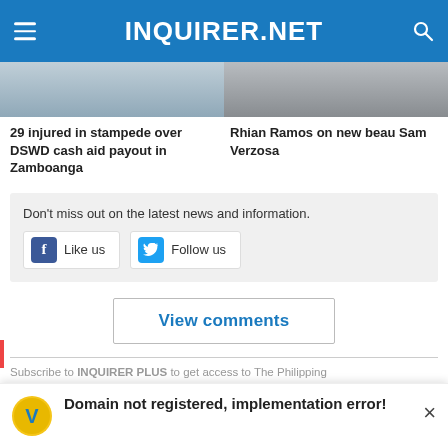INQUIRER.NET
[Figure (photo): Two news article thumbnail images side by side]
29 injured in stampede over DSWD cash aid payout in Zamboanga
Rhian Ramos on new beau Sam Verzosa
Don't miss out on the latest news and information.
Like us   Follow us
View comments
Subscribe to INQUIRER PLUS to get access to The Philippine
We use cookies to ensure you get the best
Domain not registered, implementation error!